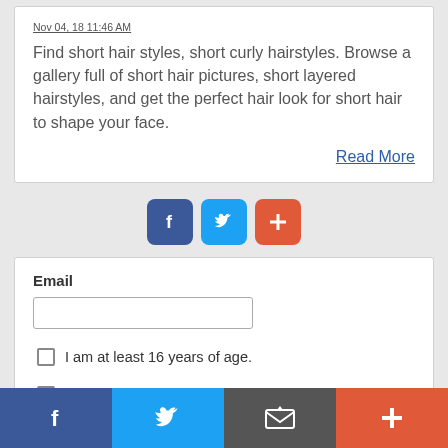Nov 04, 18 11:46 AM
Find short hair styles, short curly hairstyles. Browse a gallery full of short hair pictures, short layered hairstyles, and get the perfect hair look for short hair to shape your face.
Read More
[Figure (infographic): Social share buttons: Facebook (blue rounded square), Twitter (light blue rounded square), Plus/Add (red-orange rounded square)]
Email
I am at least 16 years of age.
I have read and accept the privacy policy.
[Figure (infographic): Bottom navigation bar with four buttons: Facebook (dark blue), Twitter (light blue), Mail/envelope (dark gray), Plus (red-orange)]